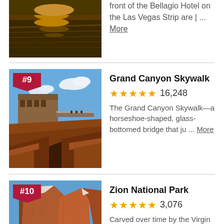[Figure (photo): Partial top image showing a reflective water surface with golden light, likely the Bellagio Hotel fountains in Las Vegas]
front of the Bellagio Hotel on the Las Vegas Strip are | ... More
[Figure (photo): Grand Canyon Skywalk with horseshoe-shaped glass bridge over the canyon, red rock formations and blue sky]
Grand Canyon Skywalk
★★★★★ 16,248
The Grand Canyon Skywalk—a horseshoe-shaped, glass-bottomed bridge that ju ... More
[Figure (photo): Zion National Park with tall red sandstone cliffs against a blue sky and green vegetation below]
Zion National Park
★★★★★ 3,076
Carved over time by the Virgin River, Zion National Park is a remarkable 148,000-ac... More